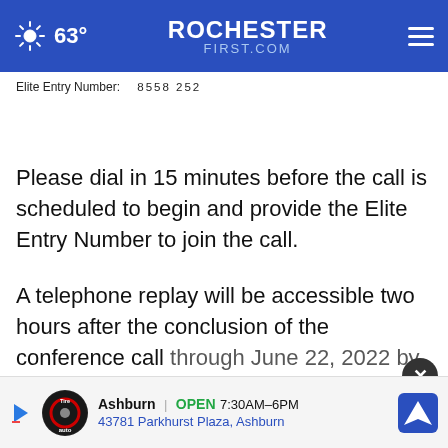63° ROCHESTERFIRST.COM
Elite Entry Number:    8558252
Please dial in 15 minutes before the call is scheduled to begin and provide the Elite Entry Number to join the call.
A telephone replay will be accessible two hours after the conclusion of the conference call through June 22, 2022 by dialing the following numb...
[Figure (infographic): Advertisement banner for Tire Auto shop: Ashburn OPEN 7:30AM-6PM 43781 Parkhurst Plaza, Ashburn with navigation icon]